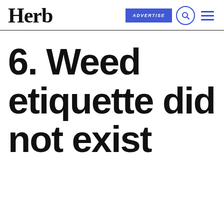Herb — ADVERTISE
6. Weed etiquette did not exist